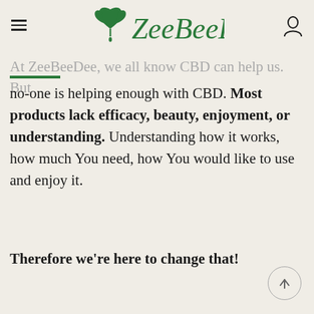ZeeBeeDee — navigation header with hamburger menu, logo, and user icon
At ZeeBeeDee, we all know CBD can help us. But no-one is helping enough with CBD. Most products lack efficacy, beauty, enjoyment, or understanding. Understanding how it works, how much You need, how You would like to use and enjoy it.
Therefore we're here to change that!